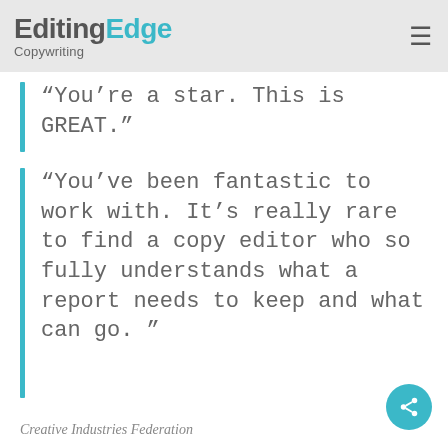EditingEdge Copywriting
“You’re a star. This is GREAT.”
“You’ve been fantastic to work with. It’s really rare to find a copy editor who so fully understands what a report needs to keep and what can go. ”
Creative Industries Federation